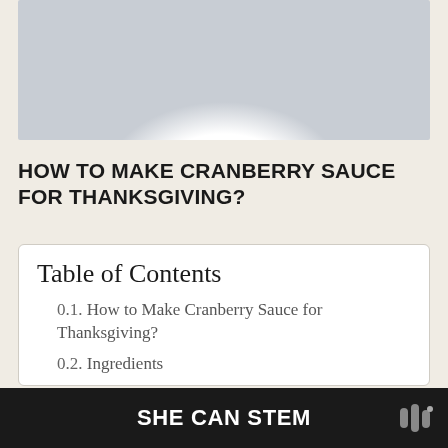[Figure (photo): Photo of a white bowl on a light gray surface, partially visible at the top of the page]
HOW TO MAKE CRANBERRY SAUCE FOR THANKSGIVING?
Table of Contents
0.1. How to Make Cranberry Sauce for Thanksgiving?
0.2. Ingredients
0.3. Directions
0.4. Why do People Eat Cranberry Sauce with Turkey?
SHE CAN STEM